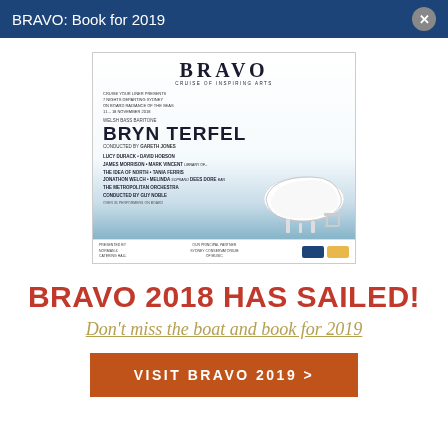BRAVO: Book for 2019
[Figure (illustration): BRAVO cruise music event promotional poster featuring Bryn Terfel baritone, with a grand piano image over water, listing performers including Lucy Durack, David Hobson, James Morrison, Mark Vincent, The Idea of North, Tania Ferris, Jonathon Welch, Melinda, Dees Dore, The Metropolitan Orchestra conducted by Guy Noble.]
BRAVO 2018 HAS SAILED!
Don't miss the boat and book for 2019
VISIT BRAVO 2019 >